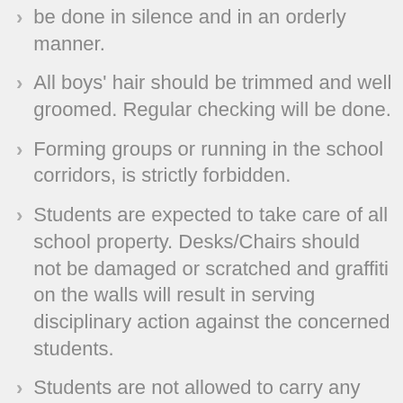be done in silence and in an orderly manner.
All boys' hair should be trimmed and well groomed. Regular checking will be done.
Forming groups or running in the school corridors, is strictly forbidden.
Students are expected to take care of all school property. Desks/Chairs should not be damaged or scratched and graffiti on the walls will result in serving disciplinary action against the concerned students.
Students are not allowed to carry any sharp instrument or article that can cause damage.
They should not bring any books other than text and library books, to school. However, if the need arises to do so, the Principal/Teacher's permission is to be sought.
Students who come to and leave school in the